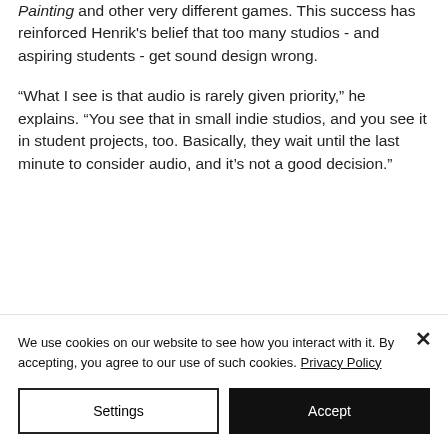Painting and other very different games. This success has reinforced Henrik's belief that too many studios - and aspiring students - get sound design wrong.
“What I see is that audio is rarely given priority,” he explains. “You see that in small indie studios, and you see it in student projects, too. Basically, they wait until the last minute to consider audio, and it’s not a good decision.”
We use cookies on our website to see how you interact with it. By accepting, you agree to our use of such cookies. Privacy Policy